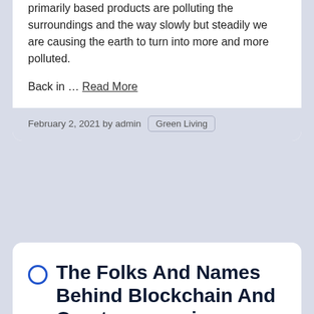primarily based products are polluting the surroundings and the way slowly but steadily we are causing the earth to turn into more and more polluted.
Back in … Read More
February 2, 2021 by admin  Green Living
The Folks And Names Behind Blockchain And Cryptocurrencies
[Figure (line-chart): Line chart titled 'Knife crime in England and Wales', subtitle '2016-17 saw a 22% rise*', showing y-axis values 40,000 and 35,000 with a rising trend line]
Turning into an eco-friendly